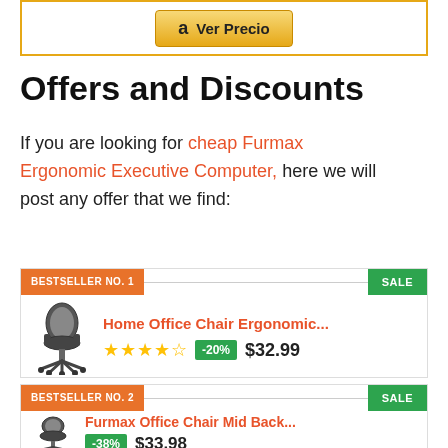[Figure (screenshot): Amazon 'Ver Precio' button inside a gold-bordered container]
Offers and Discounts
If you are looking for cheap Furmax Ergonomic Executive Computer, here we will post any offer that we find:
[Figure (infographic): Bestseller No. 1 product card: Home Office Chair Ergonomic... with 4.5 stars, -20% discount badge, $32.99 price, SALE label]
[Figure (infographic): Bestseller No. 2 product card: Furmax Office Chair Mid Back... with -38% discount badge, $33.98 price, SALE label]